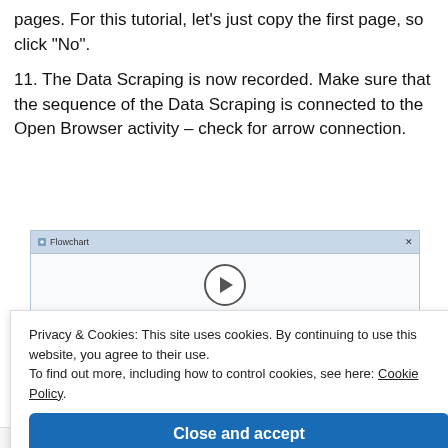pages. For this tutorial, let’s just copy the first page, so click “No”.
11. The Data Scraping is now recorded. Make sure that the sequence of the Data Scraping is connected to the Open Browser activity – check for arrow connection.
[Figure (screenshot): Flowchart panel showing a Start node with a play button circle and a connector line below it, on a light blue-grey background.]
Privacy & Cookies: This site uses cookies. By continuing to use this website, you agree to their use.
To find out more, including how to control cookies, see here: Cookie Policy
Close and accept
Advertisements